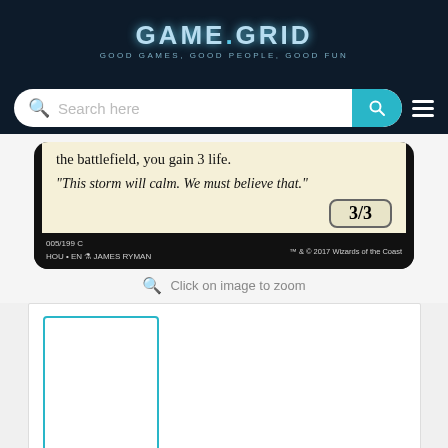[Figure (logo): Game Grid logo with tagline 'GOOD GAMES, GOOD PEOPLE, GOOD FUN' on dark navy background]
[Figure (screenshot): Search bar with placeholder text 'Search here' and teal search button on dark background]
[Figure (photo): Magic: The Gathering card snippet showing rule text 'the battlefield, you gain 3 life.' and flavor text 'This storm will calm. We must believe that.' with power/toughness 3/3, set info 005/199 C HOU EN James Ryman, TM & 2017 Wizards of the Coast]
Click on image to zoom
[Figure (photo): Small thumbnail placeholder with teal border, empty white rectangle representing a card thumbnail]